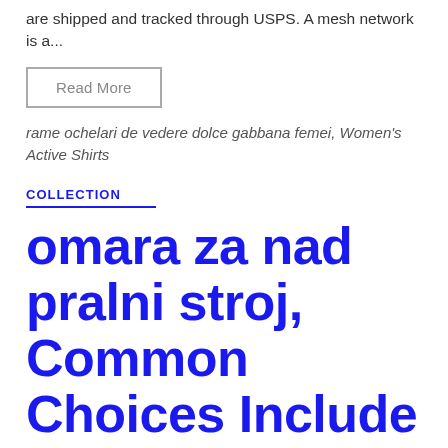are shipped and tracked through USPS. A mesh network is a...
Read More
rame ochelari de vedere dolce gabbana femei, Women's Active Shirts
COLLECTION
omara za nad pralni stroj, Common Choices Include Laminate Real Wood Metal And Glass